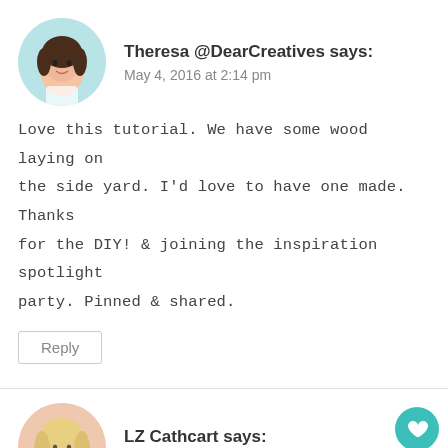Theresa @DearCreatives says:
May 4, 2016 at 2:14 pm
Love this tutorial. We have some wood laying on the side yard. I'd love to have one made. Thanks for the DIY! & joining the inspiration spotlight party. Pinned & shared.
Reply
LZ Cathcart says:
May 10, 2016 at 8:23 pm